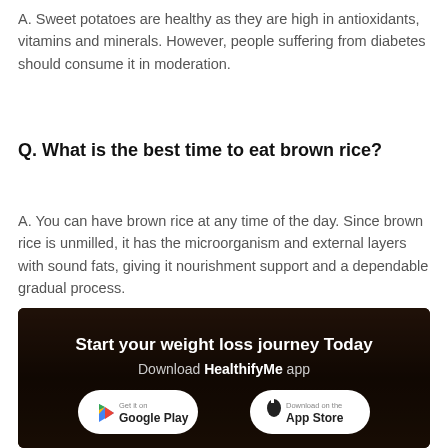A. Sweet potatoes are healthy as they are high in antioxidants, vitamins and minerals. However, people suffering from diabetes should consume it in moderation.
Q. What is the best time to eat brown rice?
A. You can have brown rice at any time of the day. Since brown rice is unmilled, it has the microorganism and external layers with sound fats, giving it nourishment support and a dependable gradual process.
[Figure (photo): Dark background photo of a person lying on a wooden floor with exercise equipment, overlaid with text: 'Start your weight loss journey Today', 'Download HealthifyMe app', and two app store badges for Google Play and App Store.]